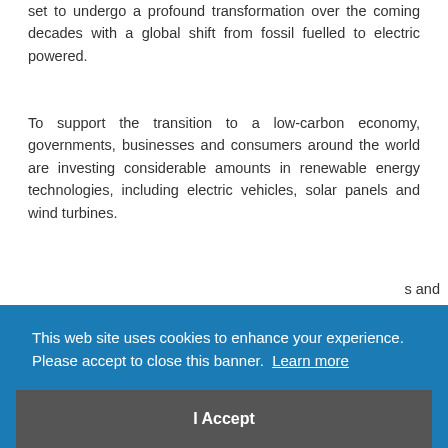set to undergo a profound transformation over the coming decades with a global shift from fossil fuelled to electric powered.
To support the transition to a low-carbon economy, governments, businesses and consumers around the world are investing considerable amounts in renewable energy technologies, including electric vehicles, solar panels and wind turbines.
[partially visible text behind cookie banner] ...s and ...iggest ...ent of ...m-ion ...ineral has and is predicted to increase substantially.
[Figure (screenshot): Cookie consent banner overlay with blue background. Text reads: 'This web site uses cookies to enhance your experience. Please accept to close this banner. Learn more' with a dark grey 'I Accept' button below.]